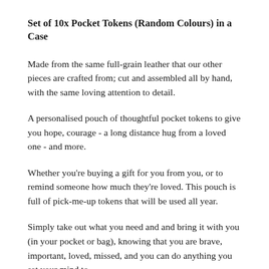Set of 10x Pocket Tokens (Random Colours) in a Case
Made from the same full-grain leather that our other pieces are crafted from; cut and assembled all by hand, with the same loving attention to detail.
A personalised pouch of thoughtful pocket tokens to give you hope, courage - a long distance hug from a loved one - and more.
Whether you're buying a gift for you from you, or to remind someone how much they're loved. This pouch is full of pick-me-up tokens that will be used all year.
Simply take out what you need and and bring it with you (in your pocket or bag), knowing that you are brave, important, loved, missed, and you can do anything you set your mind to.